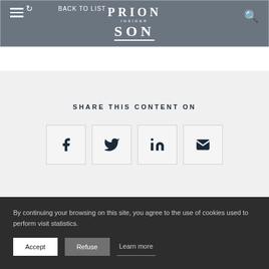PRISON INSIDER — BACK TO LIST
SHARE THIS CONTENT ON
[Figure (other): Social sharing buttons: Facebook, Twitter, LinkedIn, Email]
By continuing your browsing on this site, you agree to the use of cookies used to perform visit statistics.
Accept   Refuse   Learn more